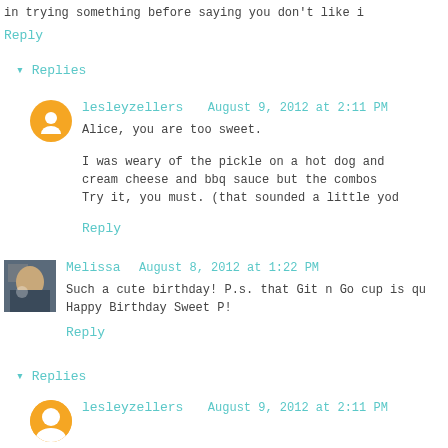in trying something before saying you don't like i
Reply
▾ Replies
lesleyzellers   August 9, 2012 at 2:11 PM
Alice, you are too sweet.
I was weary of the pickle on a hot dog and
cream cheese and bbq sauce but the combos
Try it, you must. (that sounded a little yod
Reply
Melissa  August 8, 2012 at 1:22 PM
Such a cute birthday! P.s. that Git n Go cup is qu
Happy Birthday Sweet P!
Reply
▾ Replies
lesleyzellers   August 9, 2012 at 2:11 PM